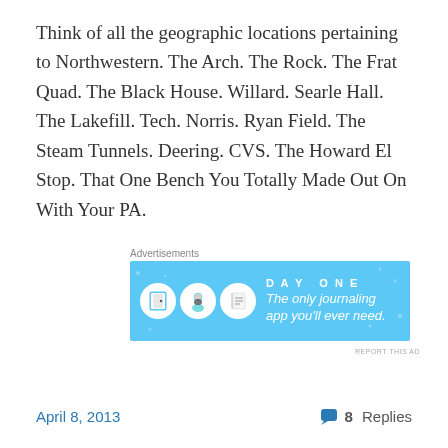Think of all the geographic locations pertaining to Northwestern. The Arch. The Rock. The Frat Quad. The Black House. Willard. Searle Hall. The Lakefill. Tech. Norris. Ryan Field. The Steam Tunnels. Deering. CVS. The Howard El Stop. That One Bench You Totally Made Out On With Your PA.
[Figure (other): Advertisements banner for Day One journaling app with blue background, app icons and text 'The only journaling app you'll ever need.']
Continue reading →
April 8, 2013
8 Replies
Keg Week 2013: Evaluating